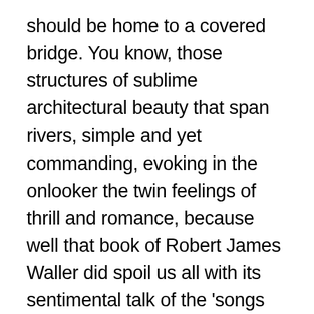should be home to a covered bridge. You know, those structures of sublime architectural beauty that span rivers, simple and yet commanding, evoking in the onlooker the twin feelings of thrill and romance, because well that book of Robert James Waller did spoil us all with its sentimental talk of the 'songs that come free from the blue-eyed grass, from the dust of a thousand country roads'.
Covered wooden bridges were built all over the country during the early 1800s to allow horses a semblance of quiet as they crossed gushing rivers, with carriages and caravans in their wake. The cool